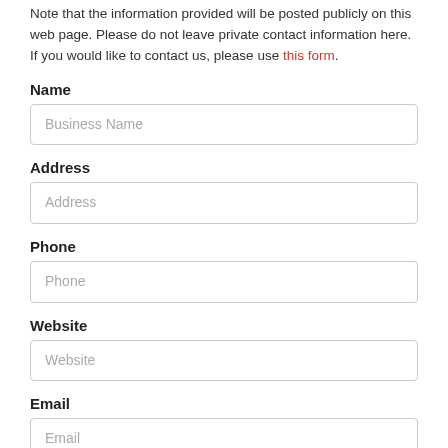Note that the information provided will be posted publicly on this web page. Please do not leave private contact information here. If you would like to contact us, please use this form.
Name
Business Name
Address
Address
Phone
Phone
Website
Website
Email
Email